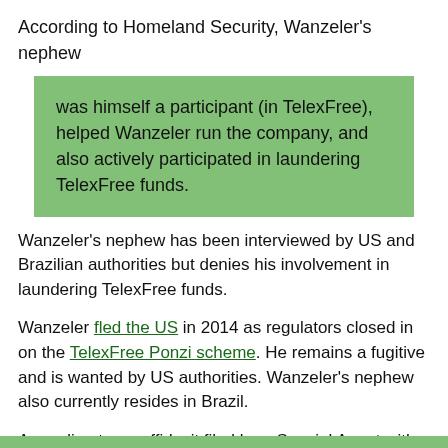According to Homeland Security, Wanzeler's nephew
was himself a participant (in TelexFree), helped Wanzeler run the company, and also actively participated in laundering TelexFree funds.
Wanzeler's nephew has been interviewed by US and Brazilian authorities but denies his involvement in laundering TelexFree funds.
Wanzeler fled the US in 2014 as regulators closed in on the TelexFree Ponzi scheme. He remains a fugitive and is wanted by US authorities. Wanzeler's nephew also currently resides in Brazil.
According to an affidavit filed by a Special Agent with Homeland Security, US authorities have exchanging information with Brazilian Federal Police for some time.